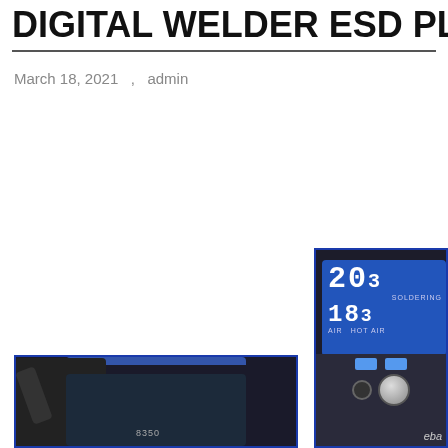DIGITAL WELDER ESD PLO...
March 18, 2021   ,   admin
[Figure (photo): Close-up of digital soldering station control panel with blue LCD display showing temperature readings (203, 183), AIR and HOT AIR labels, blue control buttons, knob, and power port. eBay watermark visible.]
[Figure (photo): Digital welder ESD soldering station with hot air gun and base unit, model 8350, dark blue/black color scheme.]